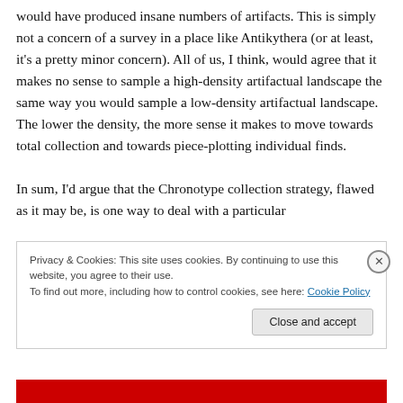would have produced insane numbers of artifacts. This is simply not a concern of a survey in a place like Antikythera (or at least, it's a pretty minor concern). All of us, I think, would agree that it makes no sense to sample a high-density artifactual landscape the same way you would sample a low-density artifactual landscape. The lower the density, the more sense it makes to move towards total collection and towards piece-plotting individual finds.

In sum, I'd argue that the Chronotype collection strategy, flawed as it may be, is one way to deal with a particular
Privacy & Cookies: This site uses cookies. By continuing to use this website, you agree to their use.
To find out more, including how to control cookies, see here: Cookie Policy